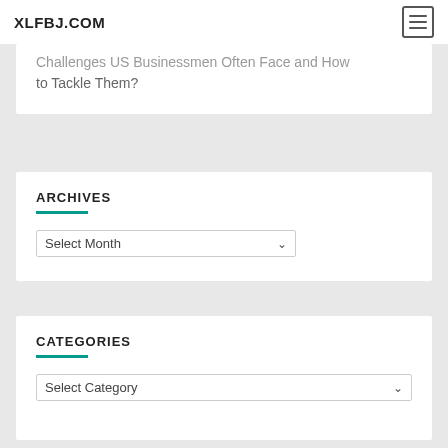XLFBJ.COM
Challenges US Businessmen Often Face and How to Tackle Them?
ARCHIVES
Select Month
CATEGORIES
Select Category